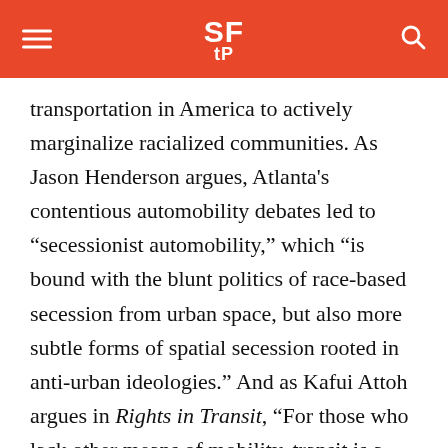SFTP
transportation in America to actively marginalize racialized communities. As Jason Henderson argues, Atlanta’s contentious automobility debates led to “secessionist automobility,” which “is bound with the blunt politics of race-based secession from urban space, but also more subtle forms of spatial secession rooted in anti-urban ideologies.” And as Kafui Attoh argues in Rights in Transit, “For those who lack other means of mobility, transit is a lifeline. It offers access to many of the entitlements we take as essential: food,